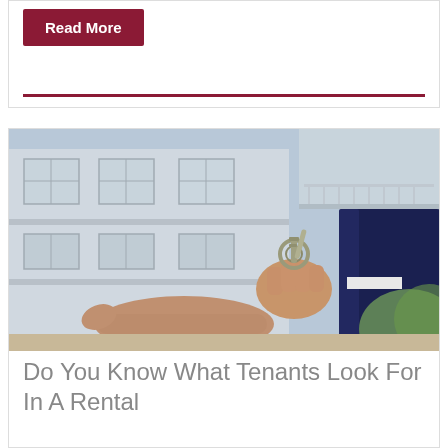Read More
[Figure (photo): A person in a dark suit handing keys to another person with an open palm, in front of a multi-story residential building]
Do You Know What Tenants Look For In A Rental Property?